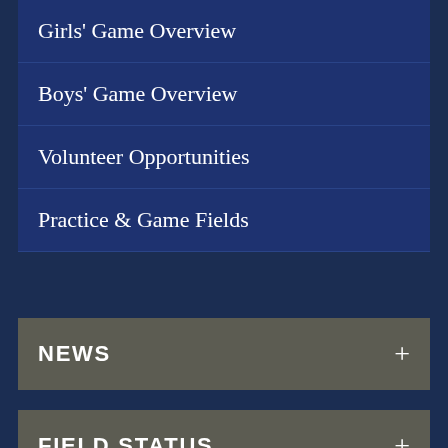Girls' Game Overview
Boys' Game Overview
Volunteer Opportunities
Practice & Game Fields
NEWS +
FIELD STATUS +